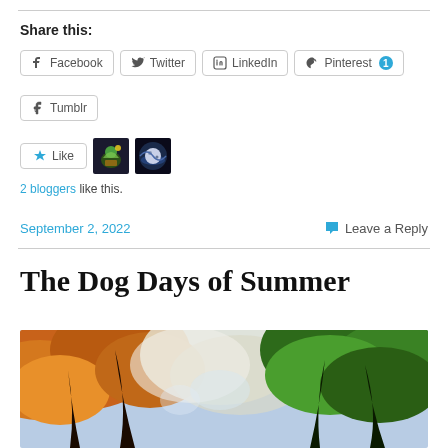Share this:
Facebook
Twitter
LinkedIn
Pinterest 1
Tumblr
2 bloggers like this.
September 2, 2022
Leave a Reply
The Dog Days of Summer
[Figure (photo): Autumn forest scene with orange and green foliage canopy viewed from below]